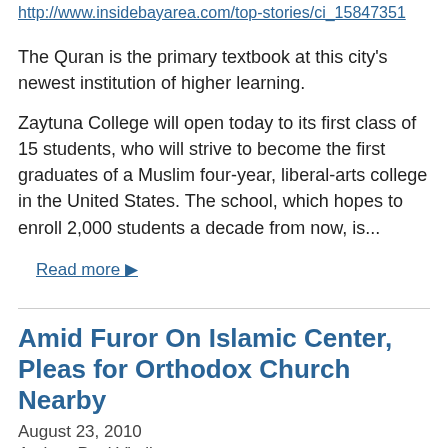http://www.insidebayarea.com/top-stories/ci_15847351
The Quran is the primary textbook at this city's newest institution of higher learning.
Zaytuna College will open today to its first class of 15 students, who will strive to become the first graduates of a Muslim four-year, liberal-arts college in the United States. The school, which hopes to enroll 2,000 students a decade from now, is...
Read more ▶
Amid Furor On Islamic Center, Pleas for Orthodox Church Nearby
August 23, 2010
Author: Paul Vitello